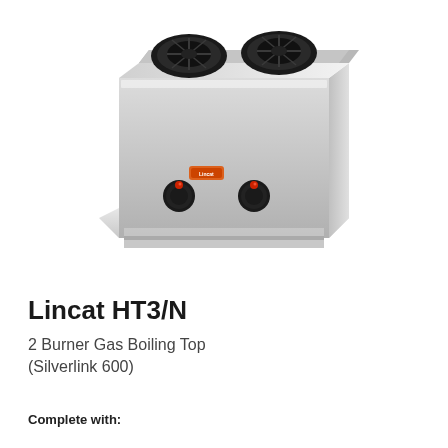[Figure (photo): Photo of a stainless steel 2-burner gas boiling top (Lincat HT3/N, Silverlink 600) shown at an angle, with two black burner heads on top and two round red-indicator knobs on the front panel, with a small Lincat logo badge.]
Lincat HT3/N
2 Burner Gas Boiling Top
(Silverlink 600)
Complete with: